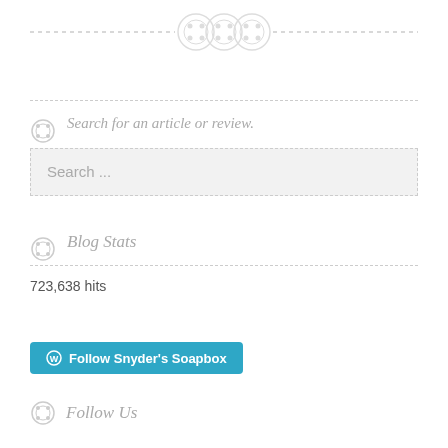[Figure (illustration): Three decorative button/gear icons centered on a dashed horizontal line at the top of the page]
[Figure (illustration): Single decorative button/gear icon next to italic text label for search section, with a dashed search input box below]
Search for an article or review.
Search ...
Blog Stats
723,638 hits
Follow Snyder's Soapbox
Follow Us